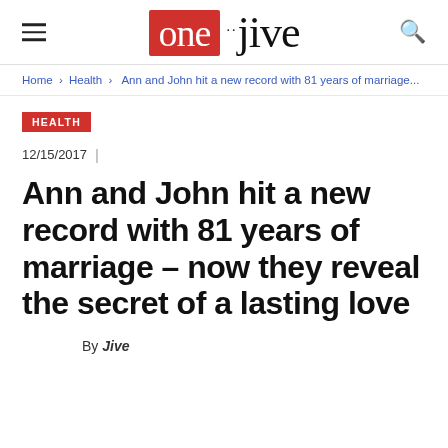one jive
Home › Health › Ann and John hit a new record with 81 years of marriage...
HEALTH
12/15/2017  |
Ann and John hit a new record with 81 years of marriage – now they reveal the secret of a lasting love
By Jive